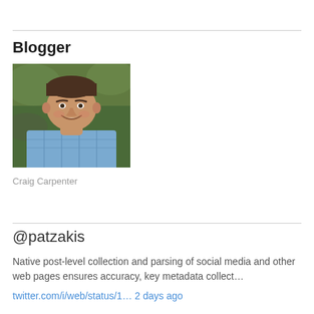Blogger
[Figure (photo): Headshot of Craig Carpenter, a man smiling, wearing a blue plaid shirt, outdoors with green background]
Craig Carpenter
@patzakis
Native post-level collection and parsing of social media and other web pages ensures accuracy, key metadata collect…
twitter.com/i/web/status/1… 2 days ago